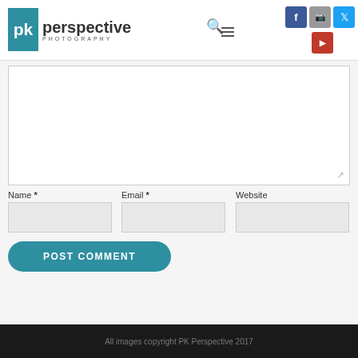[Figure (logo): PK Perspective Photography logo with teal PK box and dark text]
Name *
Email *
Website
POST COMMENT
All images copyright PK Perspective 2017